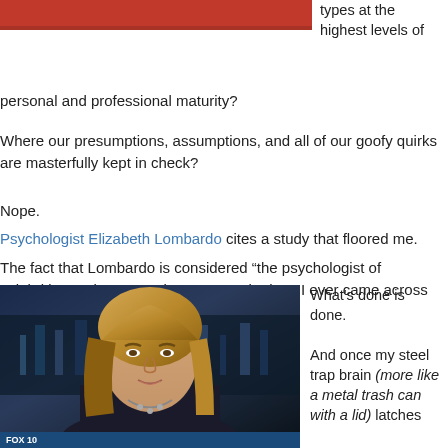[Figure (photo): Top portion of a cropped image with red/pink background visible at the top left]
types at the highest levels of personal and professional maturity?
Where our presumptions, assumptions, and all of our goofy quirks are masterfully kept in check?
Nope.
Psychologist Elizabeth Lombardo cites a study that floored me.
The fact that Lombardo is considered “the psychologist of celebrities and stars” makes me wonder how I ever came across her… but I did.
[Figure (photo): A woman with shoulder-length blonde hair appearing on a Fox News television program, wearing a dark top and pearl necklace]
What's done is done.

And once my steel trap brain (more like a metal trash can with a lid) latches